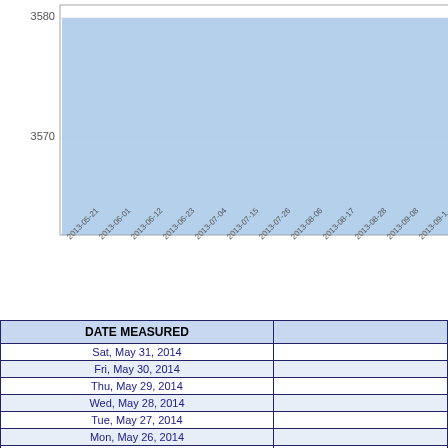[Figure (area-chart): Area chart showing data values ranging from approximately 3570 to 3580, covering dates from 2013-05-21 to 2013-09-19]
| DATE MEASURED |  |
| --- | --- |
| Sat, May 31, 2014 |  |
| Fri, May 30, 2014 |  |
| Thu, May 29, 2014 |  |
| Wed, May 28, 2014 |  |
| Tue, May 27, 2014 |  |
| Mon, May 26, 2014 |  |
| Sun, May 25, 2014 |  |
| Sat, May 24, 2014 |  |
| Fri, May 23, 2014 |  |
| Thu, May 22, 2014 |  |
| Wed, May 21, 2014 |  |
| Tue, May 20, 2014 |  |
| Mon, May 19, 2014 |  |
| Sun, May 18, 2014 |  |
| Sat, May 17, 2014 |  |
| Fri, May 16, 2014 |  |
| Thu, May 15, 2014 |  |
| Wed, May 14, 2014 |  |